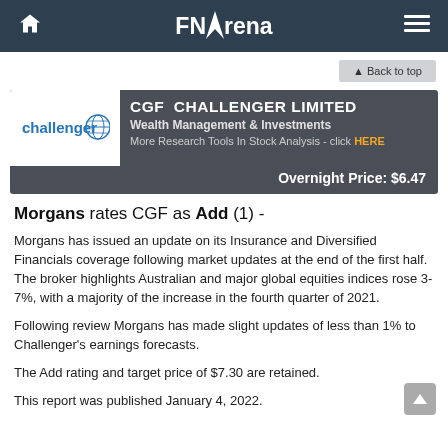FNArena
Back to top
[Figure (logo): Challenger company logo with blue globe icon and text 'challenger']
CGF  CHALLENGER LIMITED
Wealth Management & Investments
More Research Tools In Stock Analysis - click HERE
Overnight Price: $6.47
Morgans rates CGF as Add (1) -
Morgans has issued an update on its Insurance and Diversified Financials coverage following market updates at the end of the first half. The broker highlights Australian and major global equities indices rose 3-7%, with a majority of the increase in the fourth quarter of 2021.
Following review Morgans has made slight updates of less than 1% to Challenger's earnings forecasts.
The Add rating and target price of $7.30 are retained.
This report was published January 4, 2022.